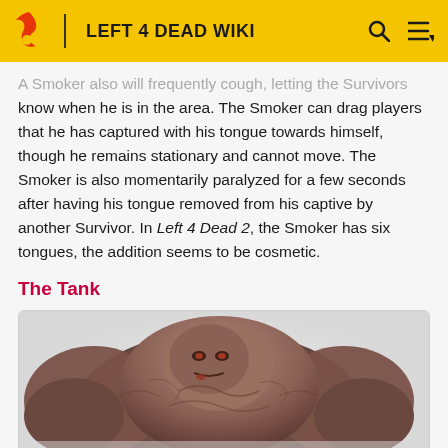LEFT 4 DEAD WIKI
A Smoker also will frequently cough, letting the Survivors know when he is in the area. The Smoker can drag players that he has captured with his tongue towards himself, though he remains stationary and cannot move. The Smoker is also momentarily paralyzed for a few seconds after having his tongue removed from his captive by another Survivor. In Left 4 Dead 2, the Smoker has six tongues, the addition seems to be cosmetic.
The Tank
[Figure (illustration): 3D render of the Tank, a massive muscular zombie creature from Left 4 Dead, viewed from above/front angle showing its enormous upper body]